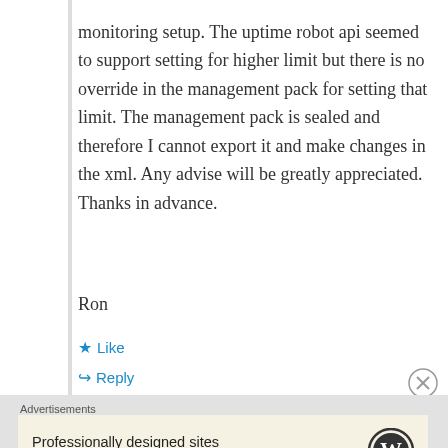monitoring setup. The uptime robot api seemed to support setting for higher limit but there is no override in the management pack for setting that limit. The management pack is sealed and therefore I cannot export it and make changes in the xml. Any advise will be greatly appreciated. Thanks in advance.
Ron
★ Like
↪ Reply
Advertisements
Professionally designed sites in less than a week